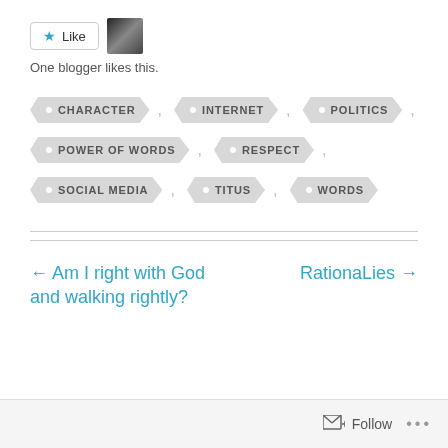[Figure (other): Like button with star icon and blogger avatar thumbnail]
One blogger likes this.
CHARACTER , INTERNET , POLITICS ,
POWER OF WORDS , RESPECT ,
SOCIAL MEDIA , TITUS , WORDS
← Am I right with God and walking rightly?
RationaLies →
Follow ...